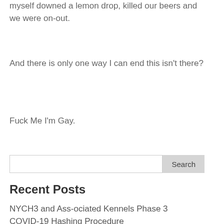myself downed a lemon drop, killed our beers and we were on-out.
And there is only one way I can end this isn't there?
Fuck Me I'm Gay.
Recent Posts
NYCH3 and Ass-ociated Kennels Phase 3
COVID-19 Hashing Procedure
The 5 Borough Pub Crawl F.A.Q.